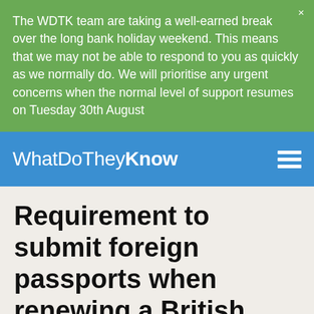The WDTK team are taking a well-earned break over the long bank holiday weekend. This means that we may not be able to respond to you as quickly as we normally do. We will prioritise any urgent concerns when the normal level of support resumes on Tuesday 30th August
WhatDoTheyKnow
Requirement to submit foreign passports when renewing a British passport
Paul Battley made this Freedom of Information request to HM Passport Office